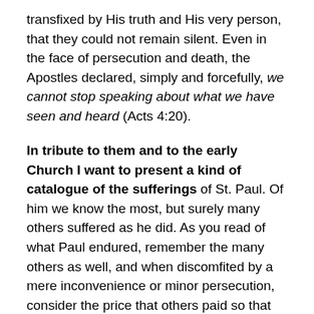transfixed by His truth and His very person, that they could not remain silent. Even in the face of persecution and death, the Apostles declared, simply and forcefully, we cannot stop speaking about what we have seen and heard (Acts 4:20).
In tribute to them and to the early Church I want to present a kind of catalogue of the sufferings of St. Paul. Of him we know the most, but surely many others suffered as he did. As you read of what Paul endured, remember the many others as well, and when discomfited by a mere inconvenience or minor persecution, consider the price that others paid so that we could know Christ and be saved.
In this first passage, Paul's sufferings were announced by God to Ananias: